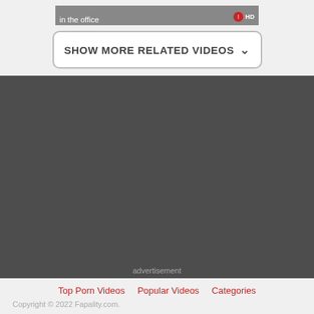[Figure (screenshot): Partial video thumbnail showing the bottom edge with text 'in the office' and a watermark logo on the right]
SHOW MORE RELATED VIDEOS ˅
advertisement
Top Porn Videos   Popular Videos   Categories
Copyright © 2022 Fapality.com.